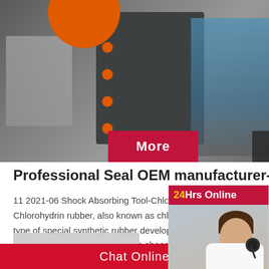[Figure (photo): Industrial machinery photo showing a large gray metal machine with orange circular elements, a forklift in the background left, and blue industrial equipment on the right. Overlay buttons: 'More' (red) and 'Online Chat' (dark).]
Professional Seal OEM manufacturer-Jiangsu…
11 2021-06 Shock Absorbing Tool-Chlorohydrin rubber Chlorohydrin rubber, also known as chloroethylene type of special synthetic rubber developed in 2021-06 Give you six reasons to choose nitril
[Figure (photo): Customer service representative with headset, smiling, with '24Hrs Online' header in red with yellow '24', and 'Need questions & suggestion? Chat Now' panel below.]
Previous
Ge Oven Parts
Chat Online